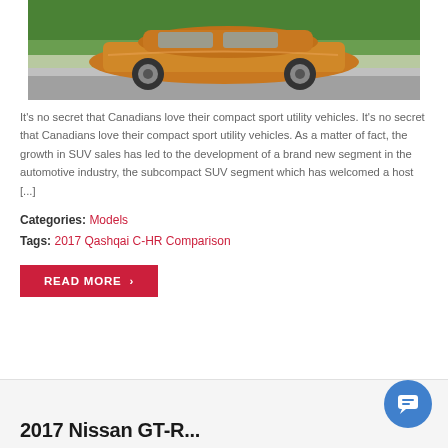[Figure (photo): Orange Nissan Qashqai SUV parked on a street with green trees in the background]
It's no secret that Canadians love their compact sport utility vehicles. It's no secret that Canadians love their compact sport utility vehicles. As a matter of fact, the growth in SUV sales has led to the development of a brand new segment in the automotive industry, the subcompact SUV segment which has welcomed a host [...]
Categories: Models
Tags: 2017 Qashqai C-HR Comparison
READ MORE
2017 Nissan GT-R...